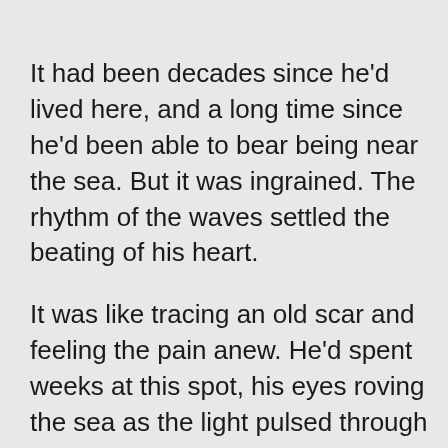It had been decades since he'd lived here, and a long time since he'd been able to bear being near the sea. But it was ingrained. The rhythm of the waves settled the beating of his heart.
It was like tracing an old scar and feeling the pain anew. He'd spent weeks at this spot, his eyes roving the sea as the light pulsed through the night. He'd made a deal with God that he'd be good if his Mum would come back. His Gran told him that she'd gone for a swim and had somehow lost her way. Barry had snuck